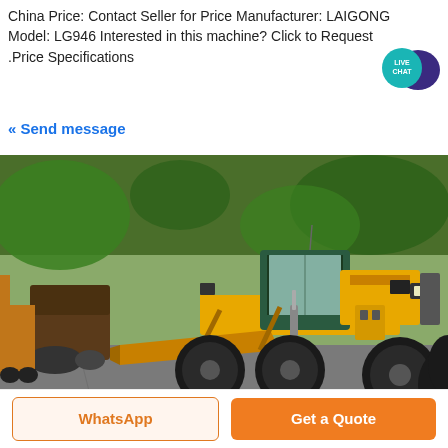China Price: Contact Seller for Price Manufacturer: LAIGONG Model: LG946 Interested in this machine? Click to Request .Price Specifications
« Send message
[Figure (logo): Live Chat speech bubble badge in teal/dark blue colors with text LIVE CHAT]
[Figure (photo): Yellow motor grader (LAIGONG LG946) parked outdoors on a paved yard. The machine is yellow with large black rubber tires. Other construction equipment visible in background including a road roller and forklift. Trees in background.]
WhatsApp
Get a Quote